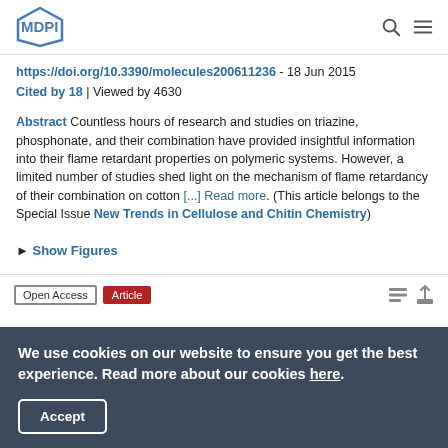MDPI logo, search icon, menu icon
https://doi.org/10.3390/molecules200611236 - 18 Jun 2015
Cited by 18 | Viewed by 4630
Abstract Countless hours of research and studies on triazine, phosphonate, and their combination have provided insightful information into their flame retardant properties on polymeric systems. However, a limited number of studies shed light on the mechanism of flame retardancy of their combination on cotton [...] Read more. (This article belongs to the Special Issue New Trends in Cellulose and Chitin Chemistry)
► Show Figures
Open Access  Article
We use cookies on our website to ensure you get the best experience. Read more about our cookies here.
Accept